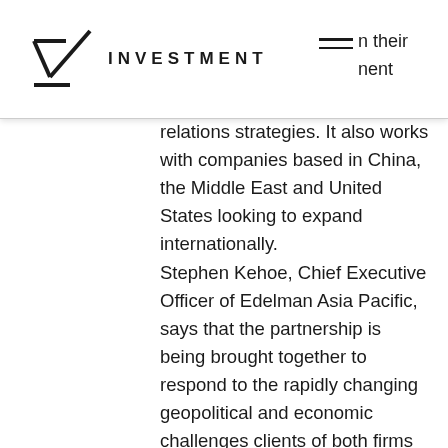INVESTMENT
relations strategies. It also works with companies based in China, the Middle East and United States looking to expand internationally.
Stephen Kehoe, Chief Executive Officer of Edelman Asia Pacific, says that the partnership is being brought together to respond to the rapidly changing geopolitical and economic challenges clients of both firms are facing.
“The Basilinna team has unique insights on issues related to China, the Middle East and U.S. markets and a strong track record of matching those insights with effective strategies,” says Kehoe.
“They are an excellent complement to